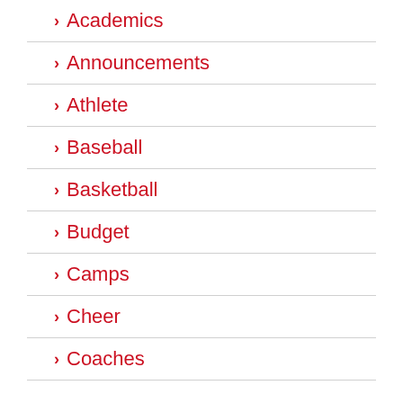Academics
Announcements
Athlete
Baseball
Basketball
Budget
Camps
Cheer
Coaches